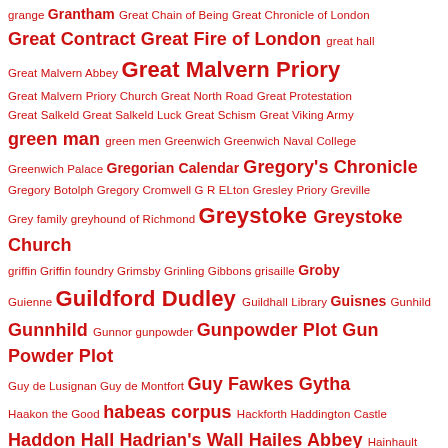grange Grantham Great Chain of Being Great Chronicle of London Great Contract Great Fire of London great hall Great Malvern Abbey Great Malvern Priory Great Malvern Priory Church Great North Road Great Protestation Great Salkeld Great Salkeld Luck Great Schism Great Viking Army green man green men Greenwich Greenwich Naval College Greenwich Palace Gregorian Calendar Gregory's Chronicle Gregory Botolph Gregory Cromwell G R ELton Gresley Priory Greville Grey family greyhound of Richmond Greystoke Greystoke Church griffin Griffin foundry Grimsby Grinling Gibbons grisaille Groby Guienne Guildford Dudley Guildhall Library Guisnes Gunhild Gunnhild Gunnor gunpowder Gunpowder Plot Gun Powder Plot Guy de Lusignan Guy de Montfort Guy Fawkes Gytha Haakon the Good habeas corpus Hackforth Haddington Castle Haddon Hall Hadrian's Wall Hailes Abbey Hainhault Hainhault Forest Hakon Sweynson Halfdan Halifax hall Hall's Chronicle Hallaby Halley's Comet Haltwhistle Hamelin de Warenne hammerbeam angel Hampnes Castle Hampton Court Hampton Court Conference Hamstead Marshal Handforth Chapel